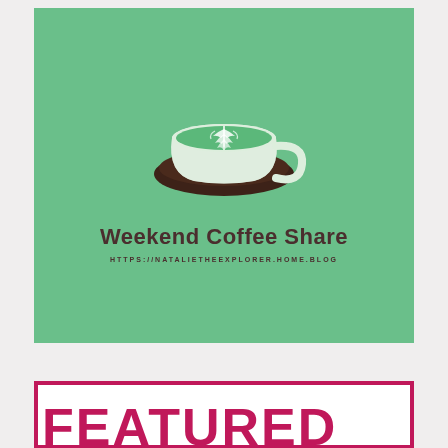[Figure (logo): Weekend Coffee Share logo on green background featuring a white coffee cup with green latte art on a dark brown saucer, title text 'Weekend Coffee Share' in dark brown handwritten font, and URL 'HTTPS://NATALIETHEEXPLORER.HOME.BLOG' below]
[Figure (other): Partial view of a 'FEATURED' banner card with crimson/dark pink border on white background, large bold red text partially visible reading 'FEATURED']